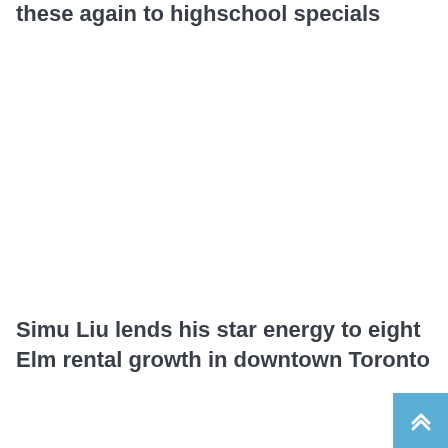these again to highschool specials
Simu Liu lends his star energy to eight Elm rental growth in downtown Toronto